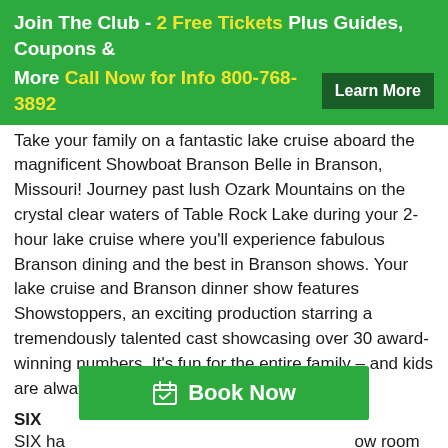Join The Club - 2 Free Tickets Plus Guides, Coupons & More Call Now for Info 800-768-3892 Learn More
Take your family on a fantastic lake cruise aboard the magnificent Showboat Branson Belle in Branson, Missouri! Journey past lush Ozark Mountains on the crystal clear waters of Table Rock Lake during your 2-hour lake cruise where you'll experience fabulous Branson dining and the best in Branson shows. Your lake cruise and Branson dinner show features Showstoppers, an exciting production starring a tremendously talented cast showcasing over 30 award-winning numbers. It's fun for the entire family – and kids are always half price!
SIX
SIX has ... show room ... rica to South America and from Europe to Asia. Their